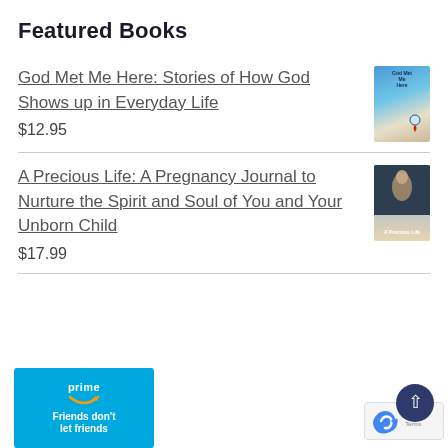Featured Books
God Met Me Here: Stories of How God Shows up in Everyday Life
$12.95
A Precious Life: A Pregnancy Journal to Nurture the Spirit and Soul of You and Your Unborn Child
$17.99
[Figure (other): Amazon Prime advertisement banner — blue background with 'prime' text, Amazon smile logo, and tagline 'Friends don't let friends']
[Figure (other): reCAPTCHA badge with blue arrow logo and 'Privacy - Terms' text, plus a dark blue scroll-to-top circular button with upward arrow]